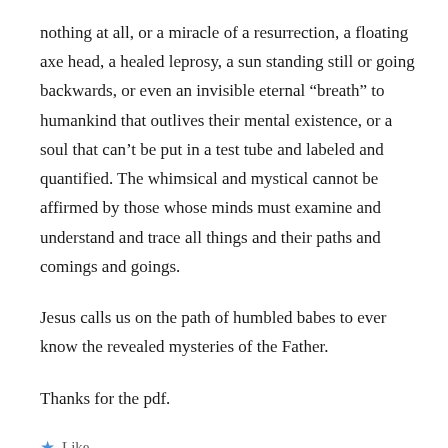nothing at all, or a miracle of a resurrection, a floating axe head, a healed leprosy, a sun standing still or going backwards, or even an invisible eternal “breath” to humankind that outlives their mental existence, or a soul that can’t be put in a test tube and labeled and quantified. The whimsical and mystical cannot be affirmed by those whose minds must examine and understand and trace all things and their paths and comings and goings.
Jesus calls us on the path of humbled babes to ever know the revealed mysteries of the Father.
Thanks for the pdf.
★ Like